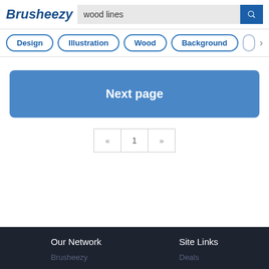Brusheezy
Design
Illustration
Wood
Background
Next page
« 1 »
Our Network
Site Links
Brusheezy
Deals